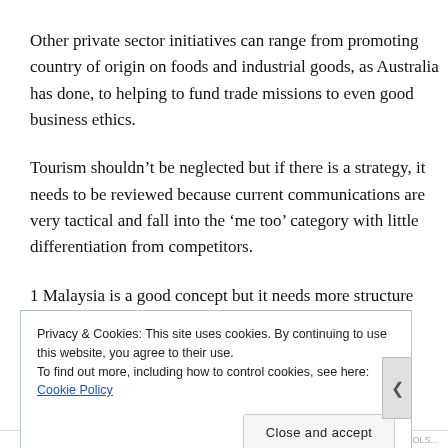Other private sector initiatives can range from promoting country of origin on foods and industrial goods, as Australia has done, to helping to fund trade missions to even good business ethics.
Tourism shouldn't be neglected but if there is a strategy, it needs to be reviewed because current communications are very tactical and fall into the ‘me too’ category with little differentiation from competitors.
1 Malaysia is a good concept but it needs more structure
Privacy & Cookies: This site uses cookies. By continuing to use this website, you agree to their use.
To find out more, including how to control cookies, see here: Cookie Policy